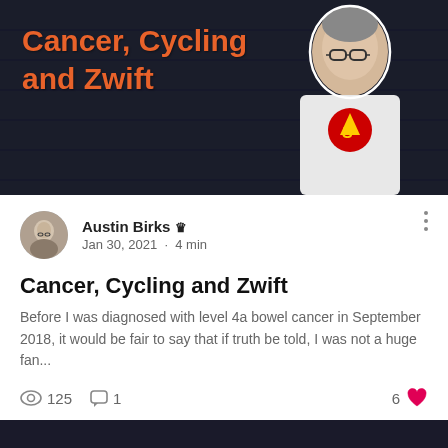[Figure (photo): Hero image with dark brick wall background, orange text 'Cancer, Cycling and Zwift', and a man wearing glasses and a Superman t-shirt on the right side]
Austin Birks 👑
Jan 30, 2021 · 4 min
Cancer, Cycling and Zwift
Before I was diagnosed with level 4a bowel cancer in September 2018, it would be fair to say that if truth be told, I was not a huge fan...
125 views · 1 comment · 6 likes